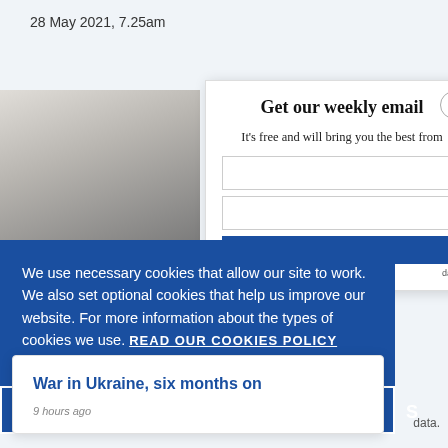28 May 2021, 7.25am
Get our weekly email
It's free and will bring you the best from
We use necessary cookies that allow our site to work. We also set optional cookies that help us improve our website. For more information about the types of cookies we use. READ OUR COOKIES POLICY HERE
COOKIE
ALLOW
S
data.
War in Ukraine, six months on
9 hours ago